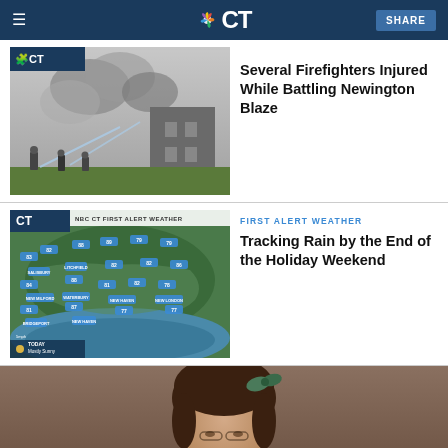NBC CT
[Figure (photo): Firefighters battling a blaze with hoses, smoke visible, NBC CT logo overlay]
Several Firefighters Injured While Battling Newington Blaze
[Figure (screenshot): NBC CT First Alert Weather map showing temperatures across Connecticut, Today Mostly Sunny]
FIRST ALERT WEATHER
Tracking Rain by the End of the Holiday Weekend
[Figure (photo): Portrait of a young woman with brown hair and a green bow, looking down]